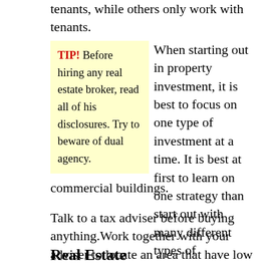tenants, while others only work with tenants.
TIP! Before hiring any real estate broker, read all of his disclosures. Try to beware of dual agency.
When starting out in property investment, it is best to focus on one type of investment at a time. It is best at first to learn on one strategy than start out with many different types of commercial buildings.
Talk to a tax adviser before buying anything.Work together with your adviser to locate an area that have low taxes.
Real Estate